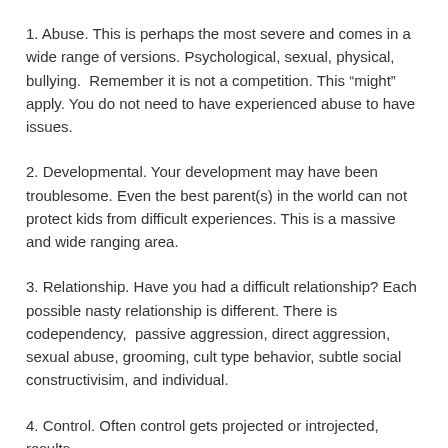1. Abuse. This is perhaps the most severe and comes in a wide range of versions. Psychological, sexual, physical, bullying.  Remember it is not a competition. This “might” apply. You do not need to have experienced abuse to have issues.
2. Developmental. Your development may have been troublesome. Even the best parent(s) in the world can not protect kids from difficult experiences. This is a massive and wide ranging area.
3. Relationship. Have you had a difficult relationship? Each possible nasty relationship is different. There is codependency,  passive aggression, direct aggression, sexual abuse, grooming, cult type behavior, subtle social constructivisim, and individual.
4. Control. Often control gets projected or introjected, results